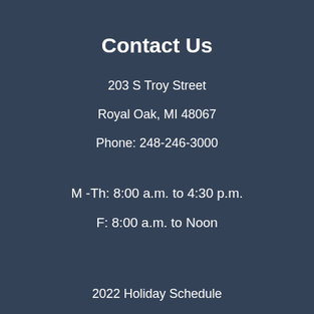Contact Us
203 S Troy Street
Royal Oak, MI 48067
Phone: 248-246-3000
M -Th:  8:00 a.m. to 4:30 p.m.
F: 8:00 a.m. to Noon
2022 Holiday Schedule